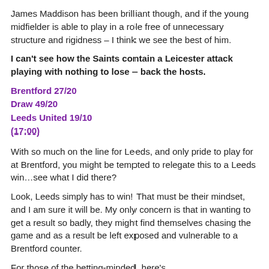James Maddison has been brilliant though, and if the young midfielder is able to play in a role free of unnecessary structure and rigidness – I think we see the best of him.
I can't see how the Saints contain a Leicester attack playing with nothing to lose – back the hosts.
Brentford 27/20
Draw 49/20
Leeds United 19/10
(17:00)
With so much on the line for Leeds, and only pride to play for at Brentford, you might be tempted to relegate this to a Leeds win…see what I did there?
Look, Leeds simply has to win! That must be their mindset, and I am sure it will be. My only concern is that in wanting to get a result so badly, they might find themselves chasing the game and as a result be left exposed and vulnerable to a Brentford counter.
For those of the betting-minded, here's...